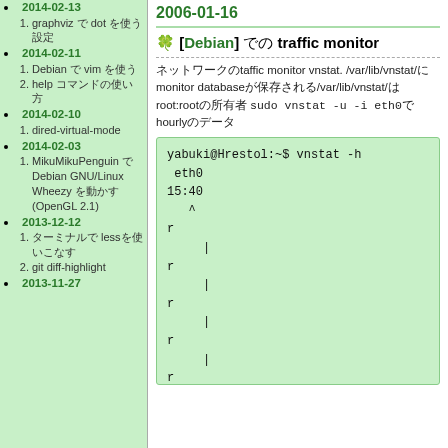2014-02-13: 1. graphviz で dot を使う設定
2014-02-11: 1. Debian で vim を使う 2. help コマンドの使い方
2014-02-10: 1. dired-virtual-mode
2014-02-03: 1. MikuMikuPenguin で Debian GNU/Linux Wheezy を動かす (OpenGL 2.1)
2013-12-12: 1. ターミナルで lessを使いこなす 2. git diff-highlight
2013-11-27
2006-01-16
🍀 [Debian] でtaffic monitor
ネットワークのtaffic monitor vnstat. /var/lib/vnstat/にmonitor databaseが保存される/var/lib/vnstat/はroot:rootの所有者 sudo vnstat -u -i eth0でhourlyのデータ
yabuki@Hrestol:~$ vnstat -h
 eth0
15:40
   ^
r
      |
r
      |
r
      |
r
      |
r
      |
r